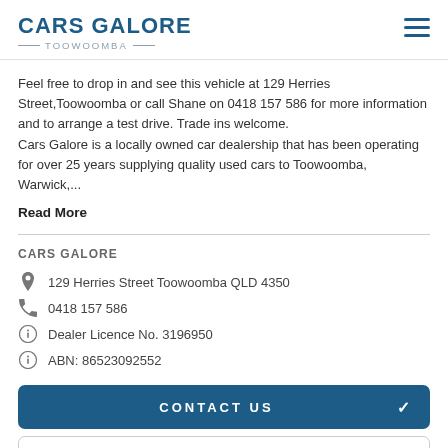Cars Galore Toowoomba
Feel free to drop in and see this vehicle at 129 Herries Street,Toowoomba or call Shane on 0418 157 586 for more information and to arrange a test drive. Trade ins welcome.
Cars Galore is a locally owned car dealership that has been operating for over 25 years supplying quality used cars to Toowoomba, Warwick,...
Read More
CARS GALORE
129 Herries Street Toowoomba QLD 4350
0418 157 586
Dealer Licence No. 3196950
ABN: 86523092552
CONTACT US
FINANCE THIS VEHICLE